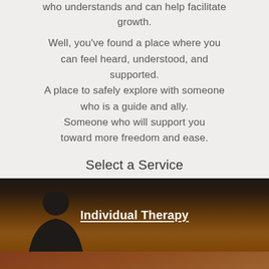who understands and can help facilitate growth.
Well, you've found a place where you can feel heard, understood, and supported.
A place to safely explore with someone who is a guide and ally.
Someone who will support you toward more freedom and ease.
Select a Service
[Figure (photo): Banner image with sunset silhouette for Individual Therapy service tile]
Individual Therapy
[Figure (photo): Banner image of couple holding hands for Couples Therapy service tile]
Couples Therapy
[Figure (photo): Banner image of water splash for Ketamine-Assisted Psychotherapy service tile]
Ketamine-Assisted Psychotherapy